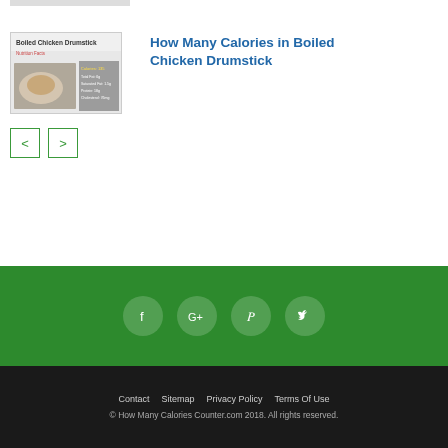[Figure (photo): Thumbnail image strip at top (partially visible)]
[Figure (photo): Article card thumbnail: Boiled Chicken Drumstick with nutrition facts overlay]
How Many Calories in Boiled Chicken Drumstick
[Figure (other): Navigation previous/next arrow buttons]
Social icons: Facebook, Google+, Pinterest, Twitter
Contact  Sitemap  Privacy Policy  Terms Of Use
© How Many Calories Counter.com 2018. All rights reserved.